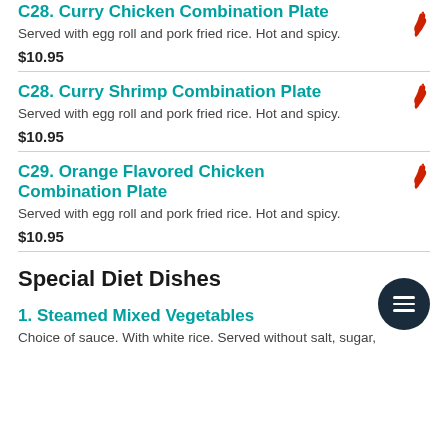C28. Curry Chicken Combination Plate
Served with egg roll and pork fried rice. Hot and spicy.
$10.95
C28. Curry Shrimp Combination Plate
Served with egg roll and pork fried rice. Hot and spicy.
$10.95
C29. Orange Flavored Chicken Combination Plate
Served with egg roll and pork fried rice. Hot and spicy.
$10.95
Special Diet Dishes
1. Steamed Mixed Vegetables
Choice of sauce. With white rice. Served without salt, sugar,